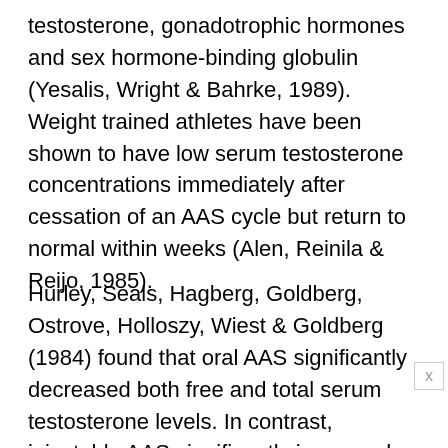testosterone, gonadotrophic hormones and sex hormone-binding globulin (Yesalis, Wright & Bahrke, 1989). Weight trained athletes have been shown to have low serum testosterone concentrations immediately after cessation of an AAS cycle but return to normal within weeks (Alen, Reinila & Reijo, 1985).
Hurley, Seals, Hagberg, Goldberg, Ostrove, Holloszy, Wiest & Goldberg (1984) found that oral AAS significantly decreased both free and total serum testosterone levels. In contrast, injectable AAS significantly increased free and